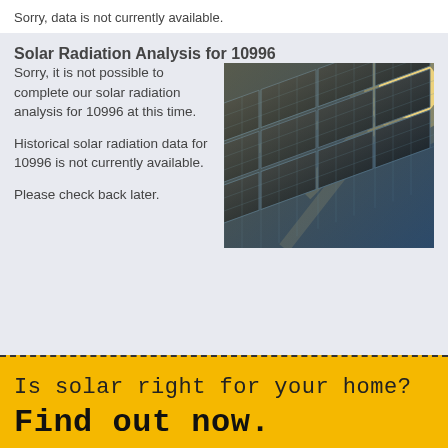Sorry, data is not currently available.
Solar Radiation Analysis for 10996
Sorry, it is not possible to complete our solar radiation analysis for 10996 at this time.

Historical solar radiation data for 10996 is not currently available.

Please check back later.
[Figure (photo): Close-up photo of solar panels against a bright sun, with blue sky visible.]
Is solar right for your home?
Find out now.